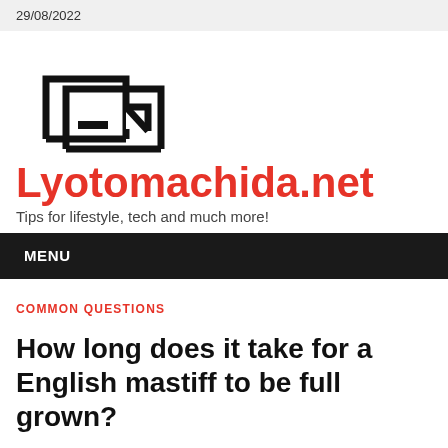29/08/2022
[Figure (logo): Lyotomachida.net logo — two overlapping house/document outline shapes in black line art]
Lyotomachida.net
Tips for lifestyle, tech and much more!
MENU
COMMON QUESTIONS
How long does it take for a English mastiff to be full grown?